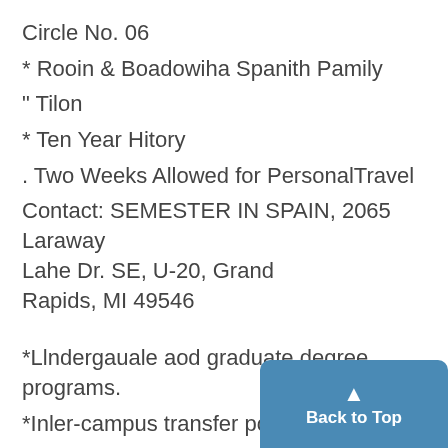Circle No. 06
* Rooin & Boadowiha Spanith Pamily
" Tilon
* Ten Year Hitory
. Two Weeks Allowed for PersonalTravel
Contact: SEMESTER IN SPAIN, 2065 Laraway Lahe Dr. SE, U-20, Grand Rapids, MI 49546
*Llndergauale aod graduate degree programs.
*Inler-campus transfer possible.
*Courses in Business Administr
Mao-